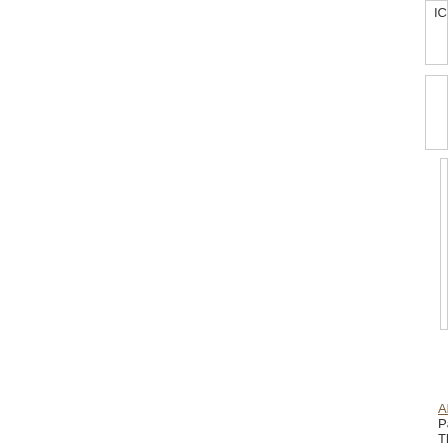ICMVA 2013 E-mail: icmva@iact.net
CVPR 2023   The IEEE/CVF Conference o
JCRAI 2022-Ei Compendex & Scopus 202... 2022)
ICMVA--Ei 2023   2023 The 6th Internation
EI-CFAIS 2022   2022 International Confer
ICMVA 2023   2023 The 6th International C
IOP, EI, Scopus-PRECE 2022   2022 Intern... 2022)-EI Compendex
MLDM 2023   18th International Conferenc
EI-ISoIRS 2022   2022 3rd International Sy
Distributed ML and Opt. 2023   Distributed
ICBDB 2022   2022 4th International Confe
About Us | Contact Us | Data | Privacy Policy | Terms a... Partners: AI2's Semantic Scholar This wiki is licensed under a Creative Commons Attribu...